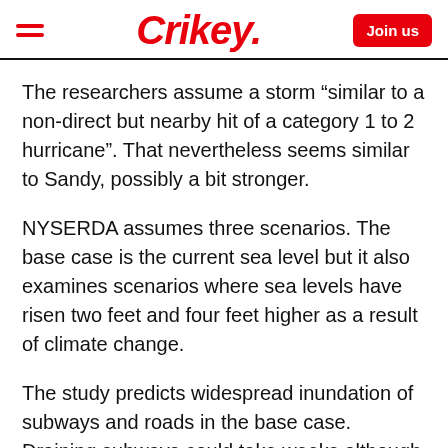Crikey.
The researchers assume a storm “similar to a non-direct but nearby hit of a category 1 to 2 hurricane”. That nevertheless seems similar to Sandy, possibly a bit stronger.
NYSERDA assumes three scenarios. The base case is the current sea level but it also examines scenarios where sea levels have risen two feet and four feet higher as a result of climate change.
The study predicts widespread inundation of subways and roads in the base case. Draining subways could take weeks although it would depend on the availability of pumps. Less certain is the